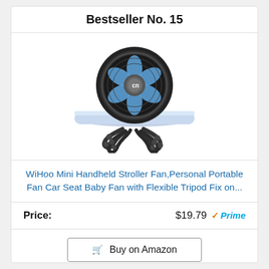Bestseller No. 15
[Figure (photo): A small portable mini fan with blue blades and a flexible black tripod/octopus-style mount gripping a white horizontal bar. The fan has a logo with a stylized 'cn' in the center.]
WiHoo Mini Handheld Stroller Fan,Personal Portable Fan Car Seat Baby Fan with Flexible Tripod Fix on...
Price: $19.79 ✓Prime
Buy on Amazon